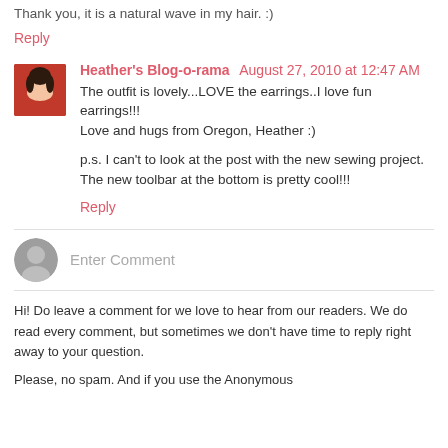Thank you, it is a natural wave in my hair. :)
Reply
Heather's Blog-o-rama August 27, 2010 at 12:47 AM
The outfit is lovely...LOVE the earrings..I love fun earrings!!!! Love and hugs from Oregon, Heather :)
p.s. I can't to look at the post with the new sewing project. The new toolbar at the bottom is pretty cool!!!
Reply
Enter Comment
Hi! Do leave a comment for we love to hear from our readers. We do read every comment, but sometimes we don't have time to reply right away to your question.
Please, no spam. And if you use the Anonymous